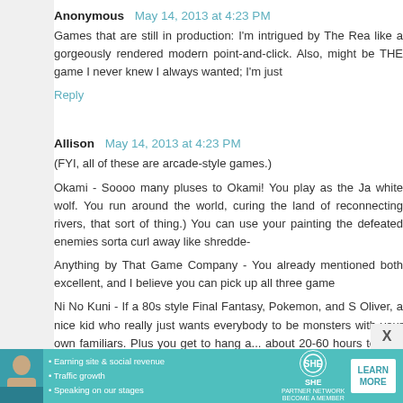Anonymous  May 14, 2013 at 4:23 PM
Games that are still in production: I’m intrigued by The Rea like a gorgeously rendered modern point-and-click. Also, might be THE game I never knew I always wanted; I’m just
Reply
Allison  May 14, 2013 at 4:23 PM
(FYI, all of these are arcade-style games.)
Okami - Soooo many pluses to Okami! You play as the Ja white wolf. You run around the world, curing the land of reconnecting rivers, that sort of thing.) You can use your painting the defeated enemies sorta curl away like shredde-
Anything by That Game Company - You already mentioned both excellent, and I believe you can pick up all three game
Ni No Kuni - If a 80s style Final Fantasy, Pokemon, and S Oliver, a nice kid who really just wants everybody to be monsters with your own familiars. Plus you get to hang a... about 20-60 hours to beat the game, depending on ho
[Figure (infographic): SHE Partner Network advertisement banner with woman photo, bullet points about earning site & social revenue, traffic growth, speaking on stages, SHE logo, and LEARN MORE button]